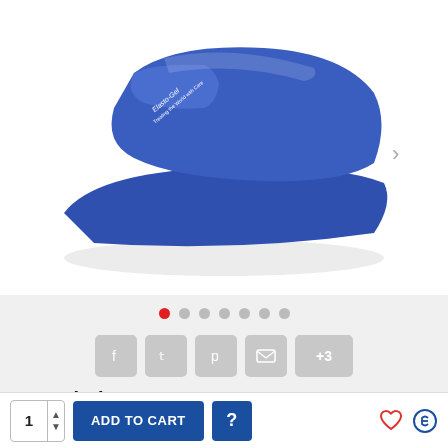[Figure (photo): Blue Elasto-Gel ice wrap/cold therapy product folded on white background]
● ● ● ● ● ● ●  (7 image carousel dots, first active in red)
[Figure (infographic): Social sharing buttons: Facebook, Twitter, Pinterest, Email, +3]
Description
The use of an ice wrap for an acute injury or after surgery can help